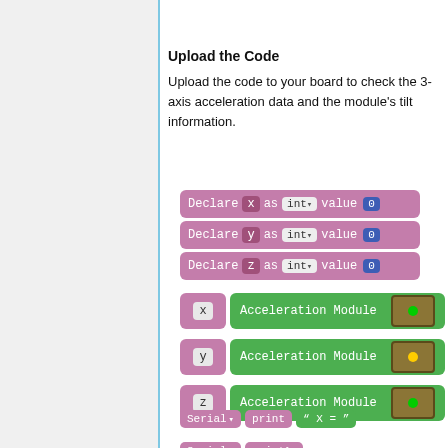Upload the Code
Upload the code to your board to check the 3-axis acceleration data and the module's tilt information.
[Figure (screenshot): Block coding interface showing declare blocks for x, y, z as int with value 0, followed by assignment blocks for x, y, z from Acceleration Module, and Serial print blocks.]